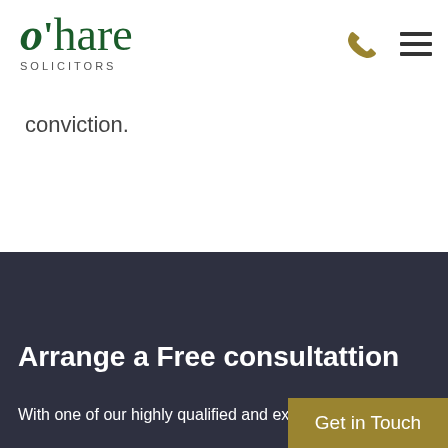O'hare Solicitors
conviction.
Arrange a Free consultattion
With one of our highly qualified and exp...
Get in Touch